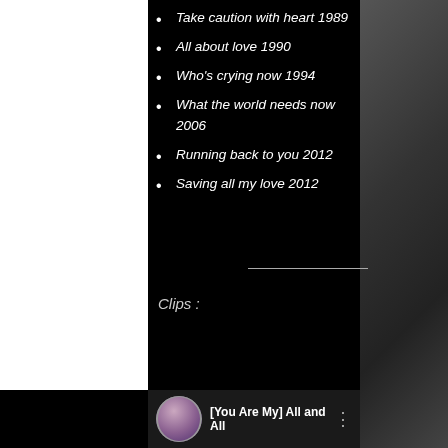Take caution with heart 1989
All about love 1990
Who's crying now 1994
What the world needs now 2006
Running back to you 2012
Saving all my love 2012
Clips :
[Figure (screenshot): YouTube-style video clip thumbnail showing a woman avatar, record/album cover for Joyce Sims, and title [You Are My] All and All with three-dot menu]